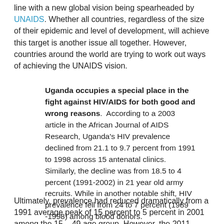line with a new global vision being spearheaded by UNAIDS. Whether all countries, regardless of the size of their epidemic and level of development, will achieve this target is another issue all together. However, countries around the world are trying to work out ways of achieving the UNAIDS vision.
Uganda occupies a special place in the fight against HIV/AIDS for both good and wrong reasons. According to a 2003 article in the African Journal of AIDS Research, Uganda's HIV prevalence declined from 21.1 to 9.7 percent from 1991 to 1998 across 15 antenatal clinics. Similarly, the decline was from 18.5 to 4 percent (1991-2002) in 21 year old army recruits. While in another notable shift, HIV prevalence fell from 24 to 7 percent (1989 -1998) among blood donors.
Ultimately, prevalence had reduced dramatically from a 1991 average peak of 15 percent to 5 percent in 2001 among the 15 – 49 age group. However, the 2011 Uganda AIDS...